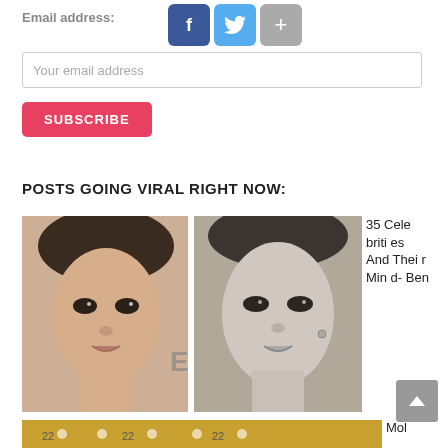Email address:
[Figure (other): Social media share buttons: Facebook (blue, f), Twitter (light blue, bird), and a gray plus button]
Your email address
SUBSCRIBE
POSTS GOING VIRAL RIGHT NOW:
[Figure (photo): Side-by-side photos: a modern color portrait of Jennifer Lawrence on the left and a black-and-white vintage historical look-alike portrait on the right]
35 Celebrities And Their Mind-Bending Historical Look-Alikes.
[Figure (photo): Partially visible second article image at the bottom of the page]
Mol